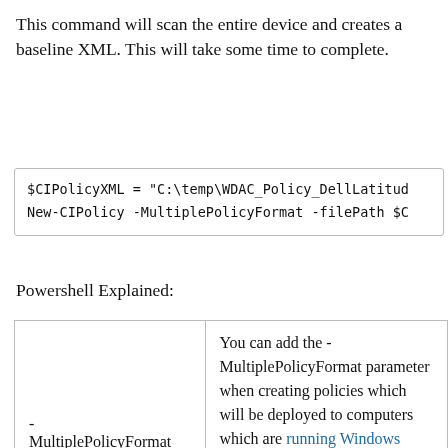This command will scan the entire device and creates a baseline XML. This will take some time to complete.
$CIPolicyXML = "C:\temp\WDAC_Policy_DellLatitude..."
New-CIPolicy -MultiplePolicyFormat -filePath $C...
Powershell Explained:
| -MultiplePolicyFormat | You can add the -MultiplePolicyFormat parameter when creating policies which will be deployed to computers which are running Windows |